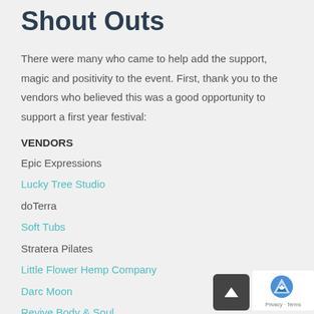Shout Outs
There were many who came to help add the support, magic and positivity to the event. First, thank you to the vendors who believed this was a good opportunity to support a first year festival:
VENDORS
Epic Expressions
Lucky Tree Studio
doTerra
Soft Tubs
Stratera Pilates
Little Flower Hemp Company
Darc Moon
Revive Body & Soul